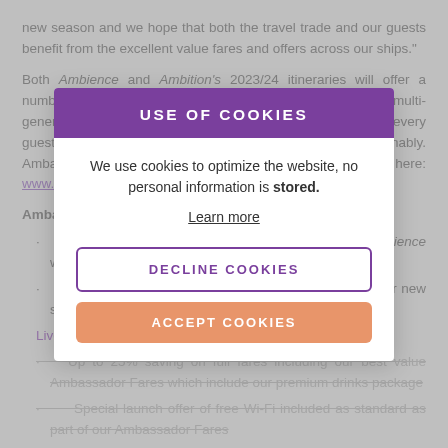new season and we hope that both the travel trade and our guests benefit from the excellent value fares and offers across our ships."
Both Ambience and Ambition's 2023/24 itineraries will offer a number of themed cruises, as well as a selection of multi-generational sailings. Ambassador's purpose is to inspire every guest to experience authentic cruising, effortlessly and sustainably. Ambassador's full sailing schedule can be found here: www.ambassadorcruiseline.com.
Ambassador's launch offers:
Brand new 2023/24 regional cruise available on Ambience with an incredible itinerary
Brand new also for 2023/24, regional UK ports on our new ship Ambition, with departures from Newcastle, Dundee, Liverpool, Belfast, Bristol & throughout the year
Up to 25% saving on full fares including our best value Ambassador Fares which include our premium drinks package
Special launch offer of free Wi-Fi included as standard as part of our Ambassador Fares
20% off the top 2 drinks packages
Up to £40 per cabin per night onboard credit available on all category
[Figure (screenshot): Cookie consent modal overlay with purple header 'USE OF COOKIES', body text 'We use cookies to optimize the website, no personal information is stored.', a 'Learn more' link, a 'DECLINE COOKIES' button with purple border, and an 'ACCEPT COOKIES' button in orange/salmon color.]